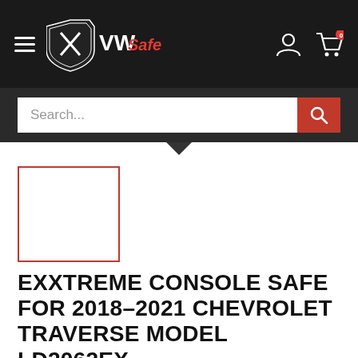[Figure (screenshot): VW Safe website header with logo, hamburger menu, user icon, and cart icon with 0 badge on dark background]
[Figure (screenshot): Search bar with placeholder text 'Search...' and red search button with magnifier icon]
[Figure (photo): Product thumbnail placeholder image with red border outline]
EXXTREME CONSOLE SAFE FOR 2018–2021 CHEVROLET TRAVERSE MODEL LD2062EX